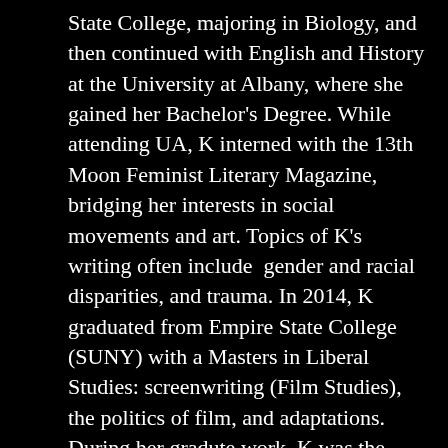State College, majoring in Biology, and then continued with English and History at the University at Albany, where she gained her Bachelor's Degree. While attending UA, K interned with the 13th Moon Feminist Literary Magazine, bridging her interests in social movements and art. Topics of K's writing often include  gender and racial disparities, and trauma. In 2014, K graduated from Empire State College (SUNY) with a Masters in Liberal Studies: screenwriting (Film Studies), the politics of film, and adaptations. During her gradute work, K was the recipient of the Foner Fellowship in Arts and Social Justice, a full scholarship.
.
Published novels by K include the Civil War drama Blue Honor, the Second World War spy thriller OP-DEC:Operation Deceit, and the controversial